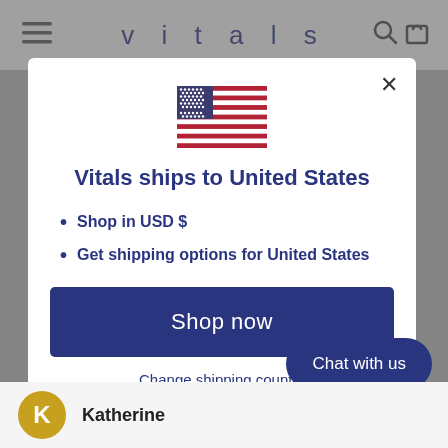vitals
[Figure (illustration): US flag emoji icon, centered in modal]
Vitals ships to United States
Shop in USD $
Get shipping options for United States
Shop now
Change shipping country
Chat with us
Katherine